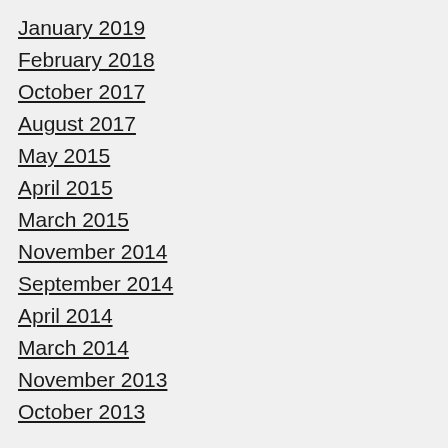January 2019
February 2018
October 2017
August 2017
May 2015
April 2015
March 2015
November 2014
September 2014
April 2014
March 2014
November 2013
October 2013